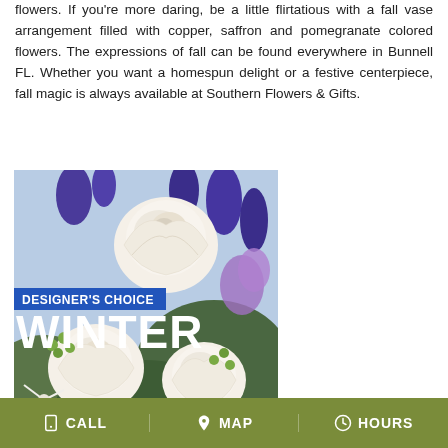flowers. If you're more daring, be a little flirtatious with a fall vase arrangement filled with copper, saffron and pomegranate colored flowers. The expressions of fall can be found everywhere in Bunnell FL. Whether you want a homespun delight or a festive centerpiece, fall magic is always available at Southern Flowers & Gifts.
[Figure (photo): A floral arrangement featuring white roses, white chrysanthemums, green berries, and purple/blue flowers. Overlaid text reads 'DESIGNER'S CHOICE' in a blue banner and 'WINTER' in large white bold letters.]
CALL   MAP   HOURS